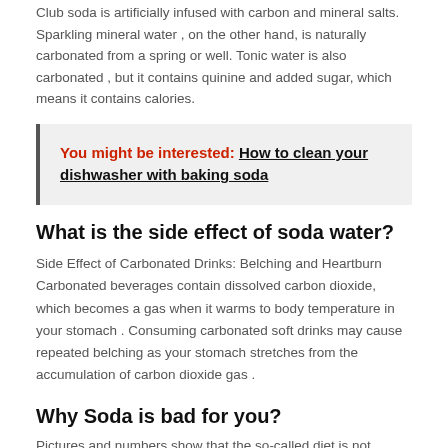Club soda is artificially infused with carbon and mineral salts. Sparkling mineral water , on the other hand, is naturally carbonated from a spring or well. Tonic water is also carbonated , but it contains quinine and added sugar, which means it contains calories.
You might be interested: How to clean your dishwasher with baking soda
What is the side effect of soda water?
Side Effect of Carbonated Drinks: Belching and Heartburn Carbonated beverages contain dissolved carbon dioxide, which becomes a gas when it warms to body temperature in your stomach . Consuming carbonated soft drinks may cause repeated belching as your stomach stretches from the accumulation of carbon dioxide gas .
Why Soda is bad for you?
Pictures and numbers show that the so-called diet is not